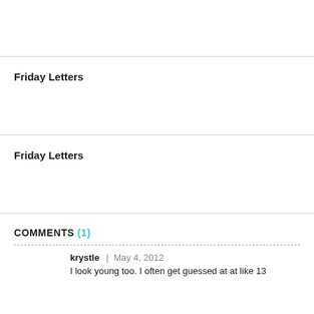Friday Letters
Friday Letters
COMMENTS (1)
krystle | May 4, 2012
I look young too. I often get guessed at at like 13